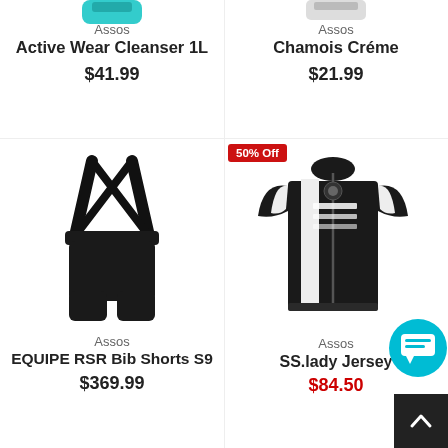[Figure (photo): Assos Active Wear Cleanser 1L product image (blue container, partially cropped at top)]
Assos
Active Wear Cleanser 1L
$41.99
[Figure (photo): Assos Chamois Créme product image (white tube, partially cropped at top)]
Assos
Chamois Créme
$21.99
[Figure (photo): Assos EQUIPE RSR Bib Shorts S9 product image (black bib shorts with suspenders)]
Assos
EQUIPE RSR Bib Shorts S9
$369.99
[Figure (photo): Assos SS.lady Jersey product image (black and white cycling jersey). Has a 50% Off badge in red. Chat icon and scroll-to-top button partially overlaid.]
Assos
SS.lady Jersey
$84.50